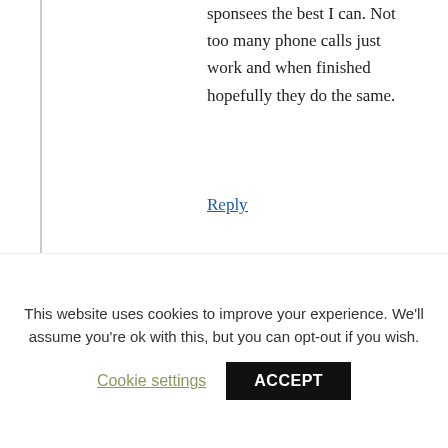sponsees the best I can. Not too many phone calls just work and when finished hopefully they do the same.
Reply
Geri says:
October 18, 2017 at 11:46 pm
I had a sponsor and it clearly got to co dependency when I tried to talk to her about this and boundaries she wouldn't respond. I
This website uses cookies to improve your experience. We'll assume you're ok with this, but you can opt-out if you wish.
Cookie settings
ACCEPT